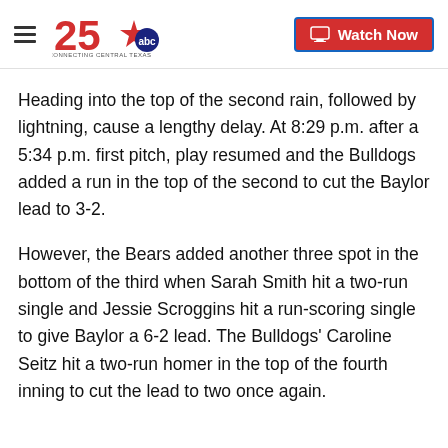25 ABC - Connecting Central Texas | Watch Now
Heading into the top of the second rain, followed by lightning, cause a lengthy delay. At 8:29 p.m. after a 5:34 p.m. first pitch, play resumed and the Bulldogs added a run in the top of the second to cut the Baylor lead to 3-2.
However, the Bears added another three spot in the bottom of the third when Sarah Smith hit a two-run single and Jessie Scroggins hit a run-scoring single to give Baylor a 6-2 lead. The Bulldogs' Caroline Seitz hit a two-run homer in the top of the fourth inning to cut the lead to two once again.